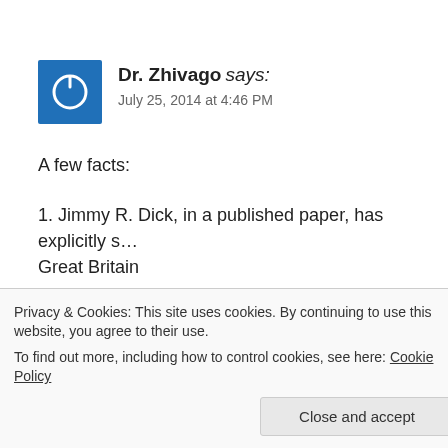[Figure (other): Blue square avatar icon with white power/circle symbol]
Dr. Zhivago says:
July 25, 2014 at 4:46 PM
A few facts:
1. Jimmy R. Dick, in a published paper, has explicitly s... Great Britain
2. Dr. Christa Dierksheide, Monticello Historian, has e... seceded from Great Britain
Privacy & Cookies: This site uses cookies. By continuing to use this website, you agree to their use.
To find out more, including how to control cookies, see here: Cookie Policy
Close and accept